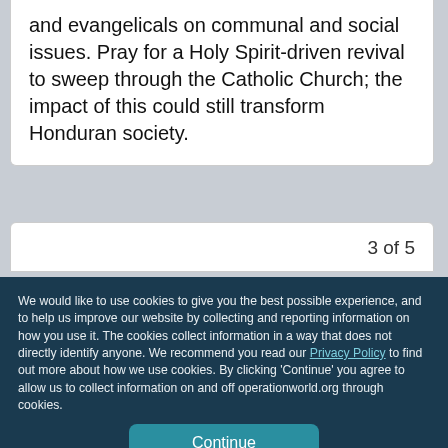considerable agreement between Catholics and evangelicals on communal and social issues. Pray for a Holy Spirit-driven revival to sweep through the Catholic Church; the impact of this could still transform Honduran society.
3 of 5
We would like to use cookies to give you the best possible experience, and to help us improve our website by collecting and reporting information on how you use it. The cookies collect information in a way that does not directly identify anyone. We recommend you read our Privacy Policy to find out more about how we use cookies. By clicking 'Continue' you agree to allow us to collect information on and off operationworld.org through cookies.
Continue